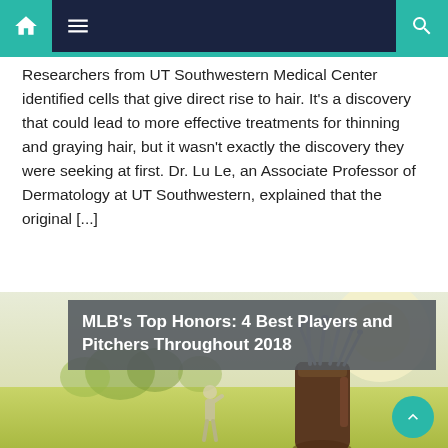Navigation bar with home, menu, and search icons
Researchers from UT Southwestern Medical Center identified cells that give direct rise to hair. It's a discovery that could lead to more effective treatments for thinning and graying hair, but it wasn't exactly the discovery they were seeking at first. Dr. Lu Le, an Associate Professor of Dermatology at UT Southwestern, explained that the original [...]
[Figure (photo): Golf bag with clubs in foreground on a golf course, golfer standing in background looking toward green, overlaid with gray title box]
MLB's Top Honors: 4 Best Players and Pitchers Throughout 2018